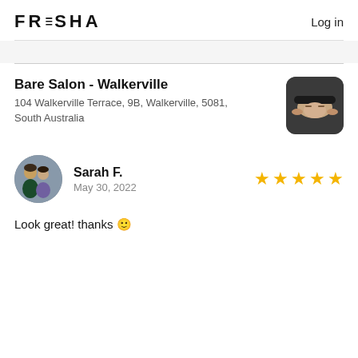FRESHA   Log in
Bare Salon - Walkerville
104 Walkerville Terrace, 9B, Walkerville, 5081, South Australia
[Figure (photo): Photo of a person receiving a facial treatment, lying down with a black headband, hands of practitioner visible]
[Figure (photo): Circular avatar photo of two women posing together, one in a purple top]
Sarah F.
May 30, 2022
Look great! thanks 🙂
[Figure (other): Five gold star rating]